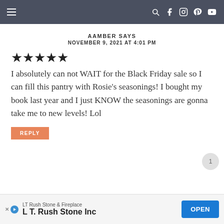Navigation bar with hamburger menu and social icons
AAMBER SAYS
NOVEMBER 9, 2021 AT 4:01 PM
★★★★★
I absolutely can not WAIT for the Black Friday sale so I can fill this pantry with Rosie's seasonings! I bought my book last year and I just KNOW the seasonings are gonna take me to new levels! Lol
REPLY
LT Rush Stone & Fireplace — L T. Rush Stone Inc — OPEN